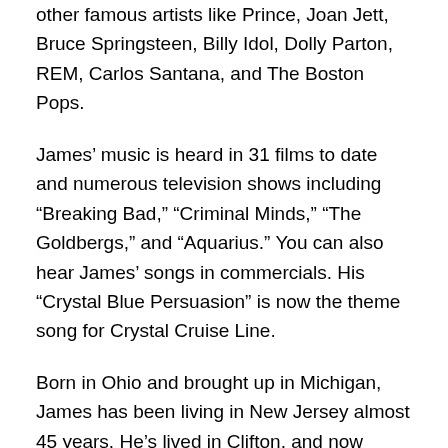other famous artists like Prince, Joan Jett, Bruce Springsteen, Billy Idol, Dolly Parton, REM, Carlos Santana, and The Boston Pops.
James' music is heard in 31 films to date and numerous television shows including “Breaking Bad,” “Criminal Minds,” “The Goldbergs,” and “Aquarius.” You can also hear James' songs in commercials. His “Crystal Blue Persuasion” is now the theme song for Crystal Cruise Line.
Born in Ohio and brought up in Michigan, James has been living in New Jersey almost 45 years. He’s lived in Clifton, and now resides in Cedar Grove. “I love it in New Jersey,” he said. “The weather’s moderate. The people are fun. It’s right by New York, where I have to be. I don’t think I can operate anywhere else. You’ve got the ocean, New York, Philadelphia. You’re in the center of the universe. Nothing